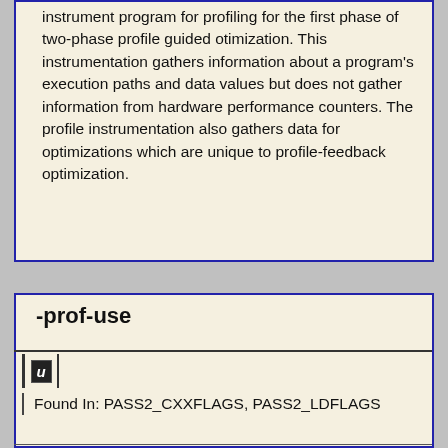instrument program for profiling for the first phase of two-phase profile guided otimization. This instrumentation gathers information about a program's execution paths and data values but does not gather information from hardware performance counters. The profile instrumentation also gathers data for optimizations which are unique to profile-feedback optimization.
-prof-use
u
Found In: PASS2_CXXFLAGS, PASS2_LDFLAGS
Instructs the compiler to produce a profile-optimized executable and merges available dynamic information (.dyn) files into a pgopti.dyn file. If you perform